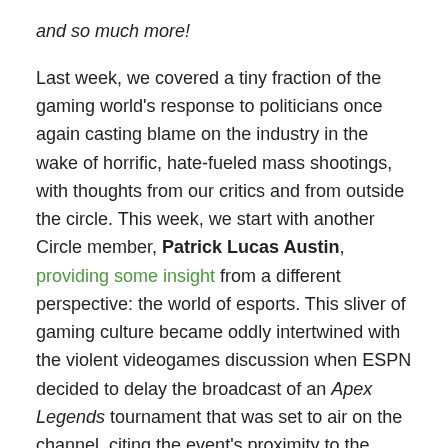and so much more!
Last week, we covered a tiny fraction of the gaming world's response to politicians once again casting blame on the industry in the wake of horrific, hate-fueled mass shootings, with thoughts from our critics and from outside the circle. This week, we start with another Circle member, Patrick Lucas Austin, providing some insight from a different perspective: the world of esports. This sliver of gaming culture became oddly intertwined with the violent videogames discussion when ESPN decided to delay the broadcast of an Apex Legends tournament that was set to air on the channel, citing the event's proximity to the mass shootings. Patrick reached out to several major esports figures to see how they felt about the situation.
At Waypoint, Austin Walker used Dicey Dungeons, the